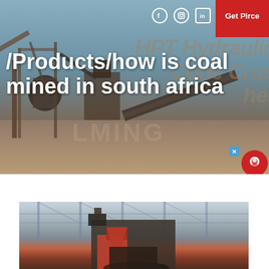/ Products / how is coal mined in south africa
[Figure (photo): Industrial mining/crushing equipment facility with conveyors and machinery against a sky background. Watermark text 'HPT Hydraulic Cone Crusher' visible in background.]
[Figure (photo): Close-up of heavy industrial equipment (crusher/mill) inside a factory building with steel roof structure.]